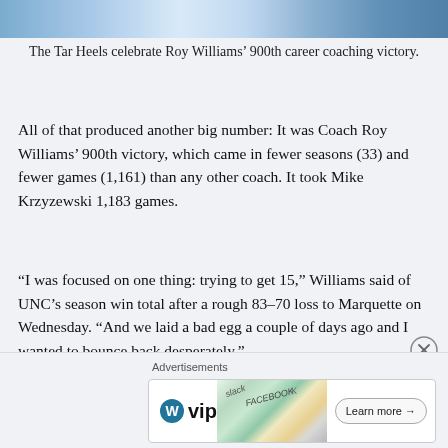[Figure (photo): Partial view of Tar Heels basketball team celebrating, wearing blue and white uniforms]
The Tar Heels celebrate Roy Williams’ 900th career coaching victory.
All of that produced another big number: It was Coach Roy Williams’ 900th victory, which came in fewer seasons (33) and fewer games (1,161) than any other coach. It took Mike Krzyzewski 1,183 games.
“I was focused on one thing: trying to get 15,” Williams said of UNC’s season win total after a rough 83–70 loss to Marquette on Wednesday. “And we laid a bad egg a couple of days ago and I wanted to bounce back desperately.”
[Figure (other): Advertisement banner: WordPress VIP logo with cards imagery and Learn more button]